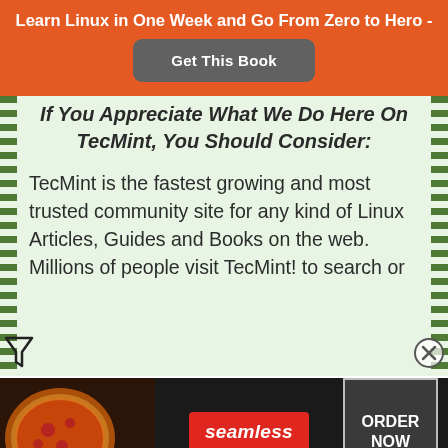Learn Linux in One Week and Go From Zero to Hero -
Get This Book
If You Appreciate What We Do Here On TecMint, You Should Consider:
TecMint is the fastest growing and most trusted community site for any kind of Linux Articles, Guides and Books on the web. Millions of people visit TecMint! to search or
[Figure (infographic): Seamless food delivery ad banner with pizza image, seamless logo, and ORDER NOW button]